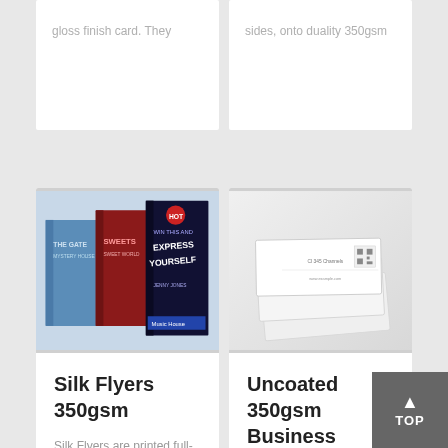gloss finish card. They
sides, onto duality 350gsm
[Figure (photo): Stack of printed flyers/books showing colorful covers including 'Express Yourself' and other titles]
Silk Flyers 350gsm
Silk Flyers are printed full-colour onto 350gsm semi-gloss finish card (silk art
[Figure (photo): Stack of white uncoated business cards shown at an angle on a light grey background]
Uncoated 350gsm Business Cards
Our Uncoated 350gsm Business Cards are printed full colour, 2 sides, onto